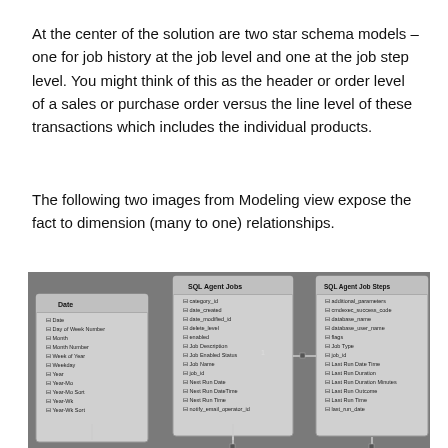At the center of the solution are two star schema models – one for job history at the job level and one at the job step level. You might think of this as the header or order level of a sales or purchase order versus the line level of these transactions which includes the individual products.
The following two images from Modeling view expose the fact to dimension (many to one) relationships.
[Figure (screenshot): A database modeling diagram showing star schema tables: Date, SQL Agent Jobs, and SQL Agent Job Steps with their respective fields, connected by relationship lines on a gray background.]